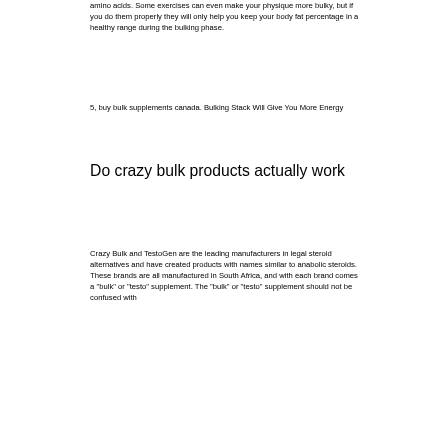amino acids. Some exercises can even make your physique more bulky, but if you do them properly they will only help you keep your body fat percentage in a healthy range during the bulking phase.
5, buy bulk supplements canada. Bulking Stack Will Give You More Energy
Do crazy bulk products actually work
Crazy Bulk and TestoGen are the leading manufacturers in legal steroid alternatives and have created products with names similar to anabolic steroids. These brands are all manufactured in South Africa, and with each brand comes a "bulk" or "testo" supplement. The "bulk" or "testo" supplement should not be confused with